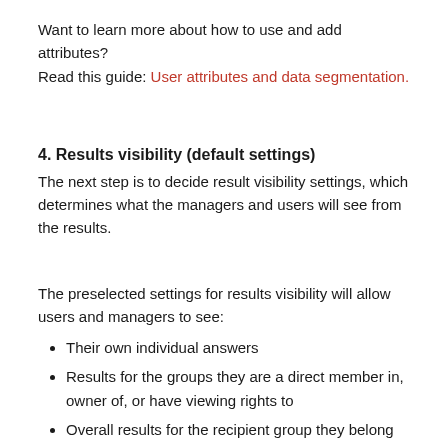Want to learn more about how to use and add attributes? Read this guide: User attributes and data segmentation.
4. Results visibility (default settings)
The next step is to decide result visibility settings, which determines what the managers and users will see from the results.
The preselected settings for results visibility will allow users and managers to see:
Their own individual answers
Results for the groups they are a direct member in, owner of, or have viewing rights to
Overall results for the recipient group they belong to